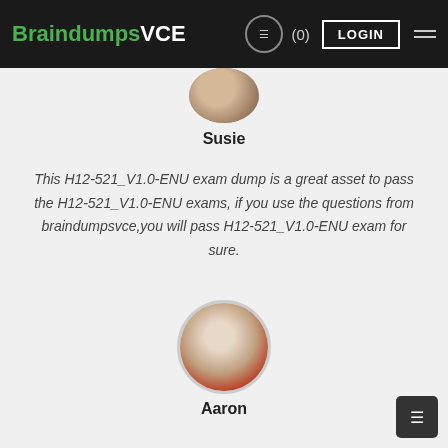BraindumpsVCE
[Figure (photo): Circular avatar photo of Susie, partially visible at top]
Susie
This H12-521_V1.0-ENU exam dump is a great asset to pass the H12-521_V1.0-ENU exams, if you use the questions from braindumpsvce,you will pass H12-521_V1.0-ENU exam for sure.
[Figure (photo): Circular avatar photo of Aaron, a young man with glasses and red shirt]
Aaron